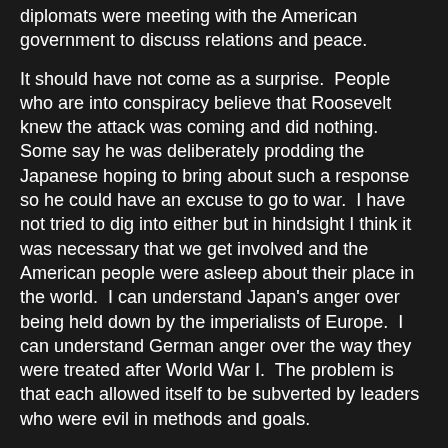diplomats were meeting with the American government to discuss relations and peace.
It should have not come as a surprise.  People who are into conspiracy believe that Roosevelt knew the attack was coming and did nothing.  Some say he was deliberately prodding the Japanese hoping to bring about such a response so he could have an excuse to go to war.  I have not tried to dig into either but in hindsight I think it was necessary that we get involved and the American people were asleep about their place in the world.  I can understand Japan's anger over being held down by the imperialists of Europe.  I can understand German anger over the way they were treated after World War I.  The problem is that each allowed itself to be subverted by leaders who were evil in methods and goals.
Are the Japanese evil as a people?  No.  Are the German people any worse than the rest of the world?  No.  But in both cases they became accomplices in extreme actions of murder, torture and destruction.